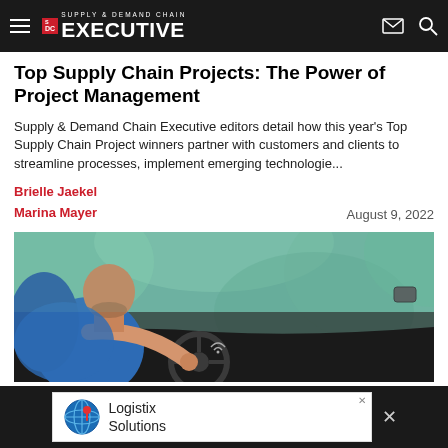Supply & Demand Chain Executive
Top Supply Chain Projects: The Power of Project Management
Supply & Demand Chain Executive editors detail how this year's Top Supply Chain Project winners partner with customers and clients to streamline processes, implement emerging technologie...
Brielle Jaekel
Marina Mayer
August 9, 2022
[Figure (photo): Person driving a vehicle, viewed from the side, hand on steering wheel, wearing blue shirt, green foliage background]
[Figure (logo): Logistix Solutions advertisement with globe icon]